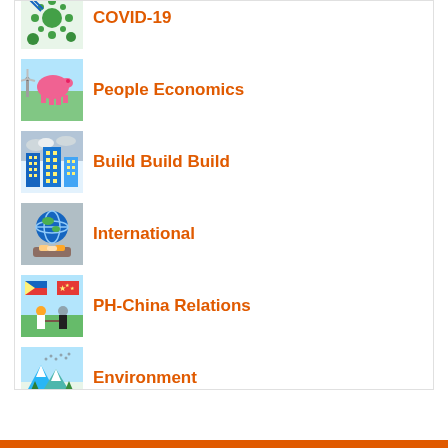COVID-19
People Economics
Build Build Build
International
PH-China Relations
Environment